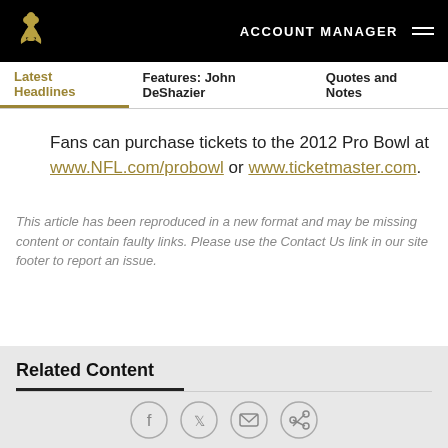ACCOUNT MANAGER
Latest Headlines | Features: John DeShazier | Quotes and Notes
Fans can purchase tickets to the 2012 Pro Bowl at www.NFL.com/probowl or www.ticketmaster.com.
This article has been reproduced in a new format and may be missing content or contain faulty links. Please use the Contact Us link in our site footer to report an issue.
Related Content
[Figure (other): Social media sharing icons: Facebook, Twitter, Email, Link]